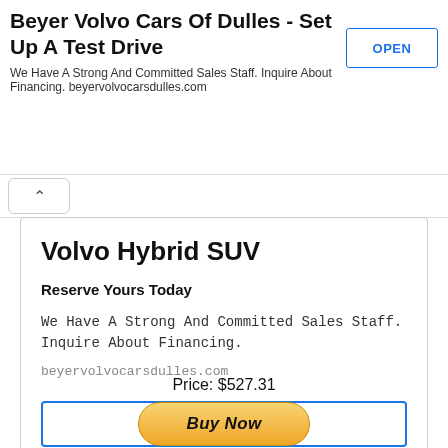Beyer Volvo Cars Of Dulles - Set Up A Test Drive
We Have A Strong And Committed Sales Staff. Inquire About Financing. beyervolvocarsdulles.com
Volvo Hybrid SUV
Reserve Yours Today
We Have A Strong And Committed Sales Staff. Inquire About Financing.
beyervolvocarsdulles.com
OPEN
Price: $527.31
Buy Now